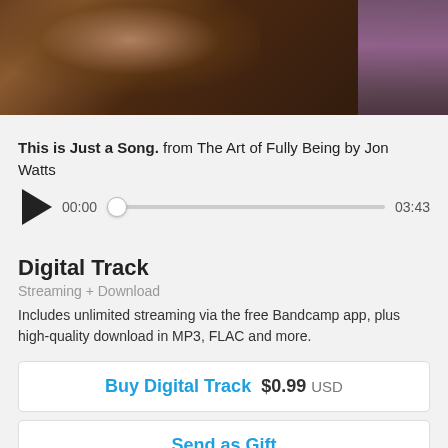[Figure (photo): Partial photo of a person's midsection/torso, appears to be taken in a room, dark tones with brown and purple hues on right side]
This is Just a Song. from The Art of Fully Being by Jon Watts
[Figure (other): Audio player with play button, time display showing 00:00, scrubber bar, and end time 03:43]
Digital Track
Streaming + Download
Includes unlimited streaming via the free Bandcamp app, plus high-quality download in MP3, FLAC and more.
Buy Digital Track  $0.99 USD
Send as Gift
Buy the Full Digital Album